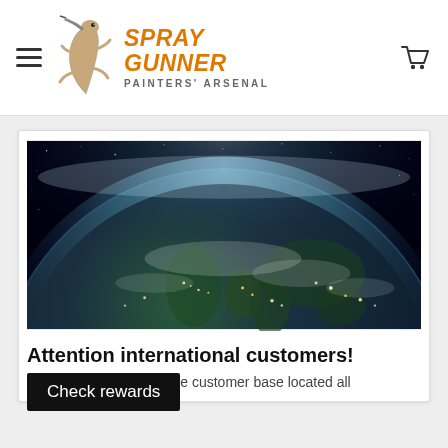SprayGunner — Painters' Arsenal
[Figure (photo): Aerial night-side view of Earth from space showing city lights across Europe, Middle East and Asia with glowing blue atmospheric halo]
Attention international customers!
wide customer base located all
Check rewards